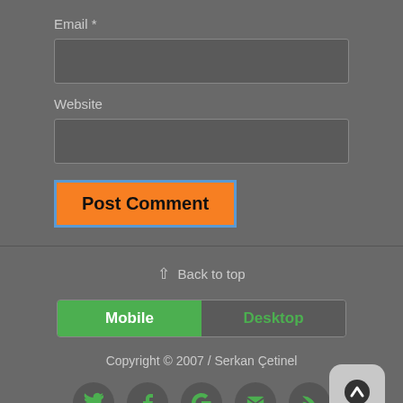Email *
[Figure (other): Text input field for Email]
Website
[Figure (other): Text input field for Website]
Post Comment
⇧ Back to top
Mobile | Desktop
Copyright © 2007 / Serkan Çetinel
[Figure (other): Social media icons: Twitter, Facebook, Google+, Email, RSS and an up-arrow button]